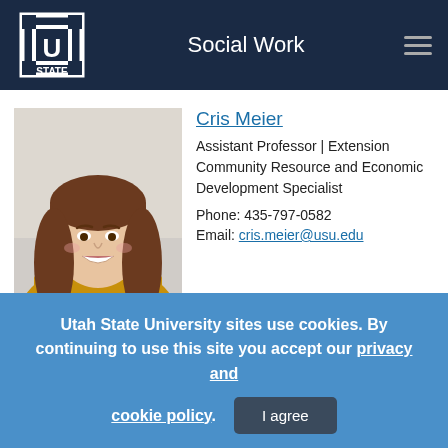Social Work
[Figure (photo): Headshot of Cris Meier, a woman with long brown hair, smiling, wearing a yellow top]
Cris Meier
Assistant Professor | Extension Community Resource and Economic Development Specialist
Phone: 435-797-0582
Email: cris.meier@usu.edu
Utah State University sites use cookies. By continuing to use this site you accept our privacy and cookie policy.